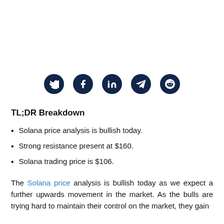[Figure (infographic): Row of five social media share icons (Twitter, Facebook, LinkedIn, Telegram, Reddit) displayed as white icons on dark navy circular backgrounds.]
TL;DR Breakdown
Solana price analysis is bullish today.
Strong resistance present at $160.
Solana trading price is $106.
The Solana price analysis is bullish today as we expect a further upwards movement in the market. As the bulls are trying hard to maintain their control on the market, they gain